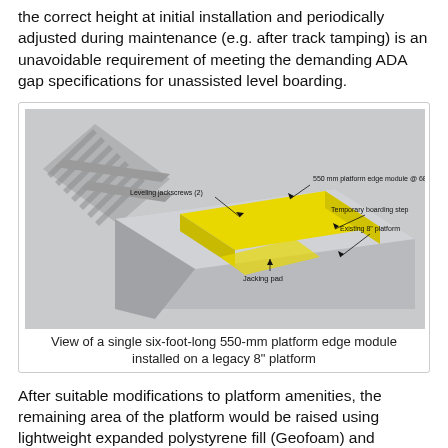the correct height at initial installation and periodically adjusted during maintenance (e.g. after track tamping) is an unavoidable requirement of meeting the demanding ADA gap specifications for unassisted level boarding.
[Figure (engineering-diagram): 3D isometric view of a single six-foot-long 550-mm platform edge module installed on a legacy 8" platform. Shows leveling jackscrews (2), 550 mm platform edge module at 68" offset, temporary boarding step, existing 8" platform, and jacking pad. The module is highlighted in yellow on a gray concrete platform adjacent to railroad tracks.]
View of a single six-foot-long 550-mm platform edge module installed on a legacy 8" platform
After suitable modifications to platform amenities, the remaining area of the platform would be raised using lightweight expanded polystyrene fill (Geofoam) and modular pavers. The pavers cover the temporary boarding step that is integral to each edge module, which is no longer needed. The resiliency of the resulting platform structure enables